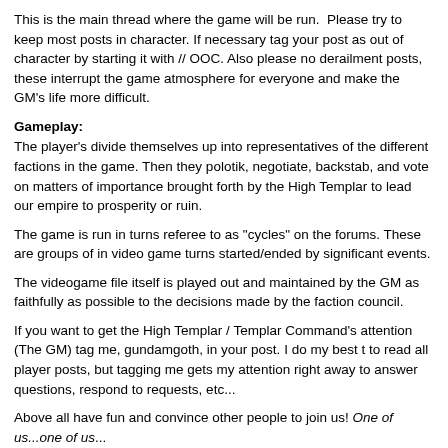This is the main thread where the game will be run.  Please try to keep most posts in character. If necessary tag your post as out of character by starting it with // OOC. Also please no derailment posts, these interrupt the game atmosphere for everyone and make the GM's life more difficult.
Gameplay:
The player's divide themselves up into representatives of the different factions in the game. Then they polotik, negotiate, backstab, and vote on matters of importance brought forth by the High Templar to lead our empire to prosperity or ruin.
The game is run in turns referee to as "cycles" on the forums. These are groups of in video game turns started/ended by significant events.
The videogame file itself is played out and maintained by the GM as faithfully as possible to the decisions made by the faction council.
If you want to get the High Templar / Templar Command's attention (The GM) tag me, gundamgoth, in your post. I do my best t to read all player posts, but tagging me gets my attention right away to answer questions, respond to requests, etc...
Above all have fun and convince other people to join us! One of us...one of us...
Dramatius Personnel:
High Templar (GM): OdsPlatypus